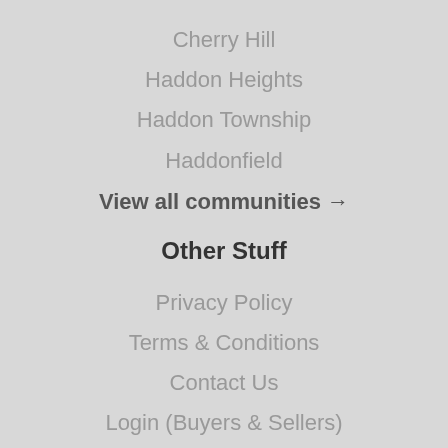Cherry Hill
Haddon Heights
Haddon Township
Haddonfield
View all communities →
Other Stuff
Privacy Policy
Terms & Conditions
Contact Us
Login (Buyers & Sellers)
[Figure (logo): Facebook icon/logo button at bottom center]